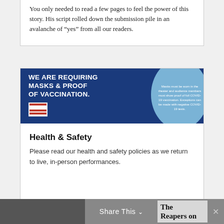You only needed to read a few pages to feel the power of this story. His script rolled down the submission pile in an avalanche of “yes” from all our readers.
[Figure (infographic): Dark blue banner with white bold text: WE ARE REQUIRING MASKS & PROOF OF VACCINATION. American Blues Theater logo at lower left. Light blue circle on right with white text: Masks must be worn in the theater and audience members must show proof of full COVID-19 vaccination. Exceptions can be made with negative COVID-19 tests.]
Health & Safety
Please read our health and safety policies as we return to live, in-person performances.
Share This
The Reapers on